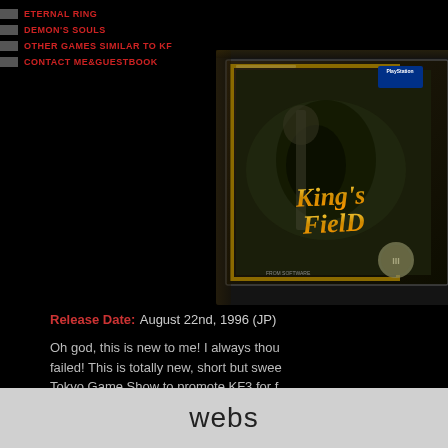ETERNAL RING
DEMON'S SOULS
OTHER GAMES SIMILAR TO KF
CONTACT ME&GUESTBOOK
[Figure (photo): King's Field PlayStation game box art showing dark fantasy artwork with golden title text on a black/dark background, with PlayStation logo in top right corner]
Release Date: August 22nd, 1996 (JP)
Oh god, this is new to me! I always thou failed! This is totally new, short but swee Tokyo Game Show to promote KF3 for f learned that this was a new game, i went
webs